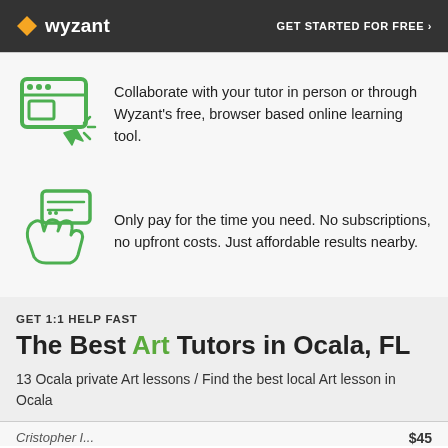wyzant | GET STARTED FOR FREE ›
Collaborate with your tutor in person or through Wyzant's free, browser based online learning tool.
Only pay for the time you need. No subscriptions, no upfront costs. Just affordable results nearby.
GET 1:1 HELP FAST
The Best Art Tutors in Ocala, FL
13 Ocala private Art lessons / Find the best local Art lesson in Ocala